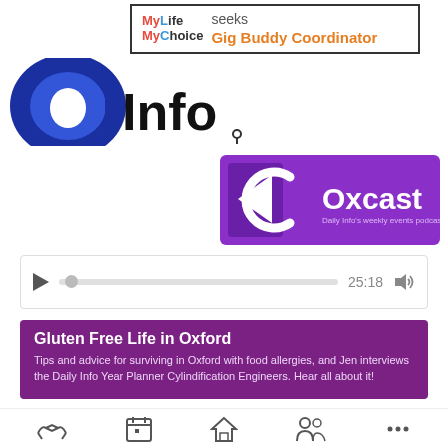[Figure (logo): MyLife MyChoice seeks Gig Buddy Coordinator advertisement banner with colored logo text]
[Figure (logo): Daily Info 'a Info' logo with blue circle/letter mark and bold Info text]
[Figure (logo): Oxcast purple banner logo - Daily Info's weekly events podcast]
[Figure (other): Audio player widget showing play button, progress bar, time 25:18, and volume icon]
Gluten Free Life in Oxford
Tips and advice for surviving in Oxford with food allergies, and Jen interviews the Daily Info Year Planner Cylindification Engineers. Hear all about it!
[Figure (other): Download MP3 button (blue) and Subscribe via iTunes button (brown/orange)]
[Figure (other): Bottom navigation bar with handshake, calendar, home, people, and more icons]